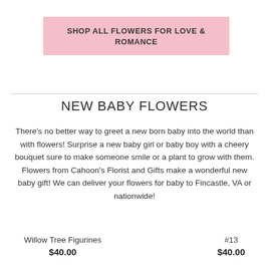SHOP ALL FLOWERS FOR LOVE & ROMANCE
NEW BABY FLOWERS
There's no better way to greet a new born baby into the world than with flowers! Surprise a new baby girl or baby boy with a cheery bouquet sure to make someone smile or a plant to grow with them. Flowers from Cahoon's Florist and Gifts make a wonderful new baby gift! We can deliver your flowers for baby to Fincastle, VA or nationwide!
| Willow Tree Figurines | #13 |
| $40.00 | $40.00 |